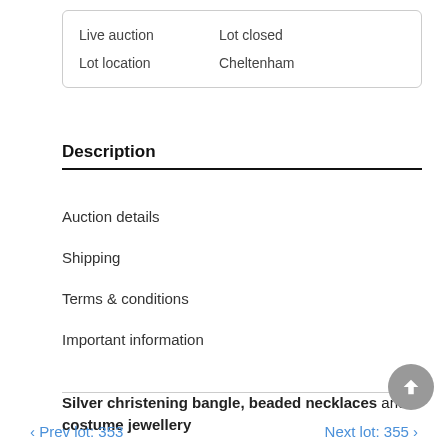| Live auction | Lot closed |
| Lot location | Cheltenham |
Description
Auction details
Shipping
Terms & conditions
Important information
Silver christening bangle, beaded necklaces and costume jewellery
Prev lot: 353    Next lot: 355